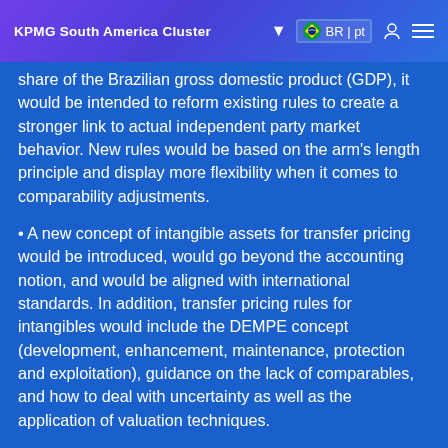KPMG South America Cluster
share of the Brazilian gross domestic product (GDP), it would be intended to reform existing rules to create a stronger link to actual independent party market behavior. New rules would be based on the arm's length principle and display more flexibility when it comes to comparability adjustments.
• A new concept of intangible assets for transfer pricing would be introduced, would go beyond the accounting notion, and would be aligned with international standards. In addition, transfer pricing rules for intangibles would include the DEMPE concept (development, enhancement, maintenance, protection and exploitation), guidance on the lack of comparables, and how to deal with uncertainty as well as the application of valuation techniques.
• The revision of the transfer pricing rules for